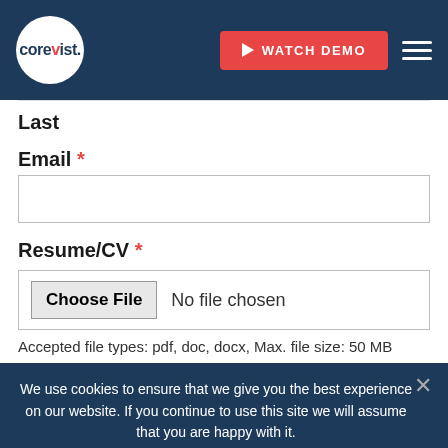[Figure (logo): Corevist logo with white circle on dark blue navigation bar, red play button Watch Demo button, and hamburger menu icon]
Last
Email *
Resume/CV *
Choose File  No file chosen
Accepted file types: pdf, doc, docx, Max. file size: 50 MB
We use cookies to ensure that we give you the best experience on our website. If you continue to use this site we will assume that you are happy with it.
Ok  Privacy policy